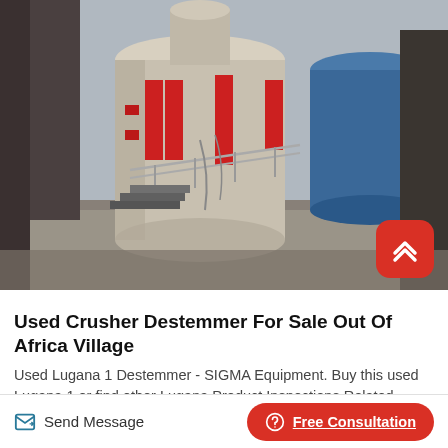[Figure (photo): Industrial crusher/destemmer machinery with large cylindrical tanks, red hydraulic components, metal staircases and railings, and a blue mechanical unit, photographed outdoors at a mining or processing facility.]
Used Crusher Destemmer For Sale Out Of Africa Village
Used Lugana 1 Destemmer - SIGMA Equipment. Buy this used Lugana 1 or find other Lugana Product Inspections Related Destemmer with crusher All stainless steel construction Includes 23 inch long x
Send Message
Free Consultation